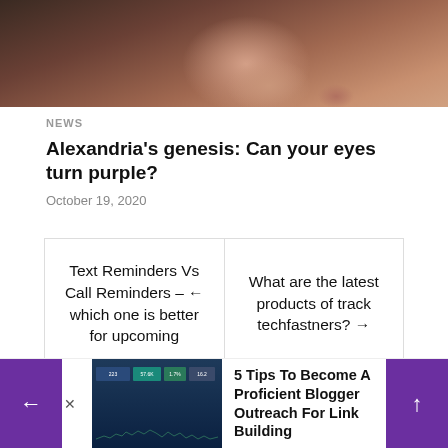[Figure (photo): Close-up photo of a woman's face, lower half, showing freckled skin and dark hair]
NEWS
Alexandria's genesis: Can your eyes turn purple?
October 19, 2020
← Text Reminders Vs Call Reminders – which one is better for upcoming
What are the latest products of track techfastners? →
[Figure (screenshot): Screenshot of a web analytics dashboard with bar graphs and a line chart]
5 Tips To Become A Proficient Blogger Outreach For Link Building